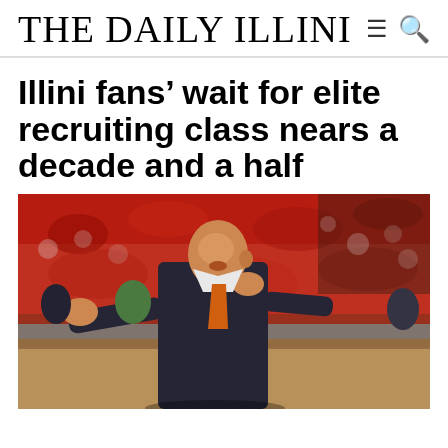THE DAILY ILLINI
Illini fans’ wait for elite recruiting class nears a decade and a half
[Figure (photo): Basketball coach in a dark suit with an orange tie gesturing on the sideline during a game, with a crowd of fans in red in the background.]